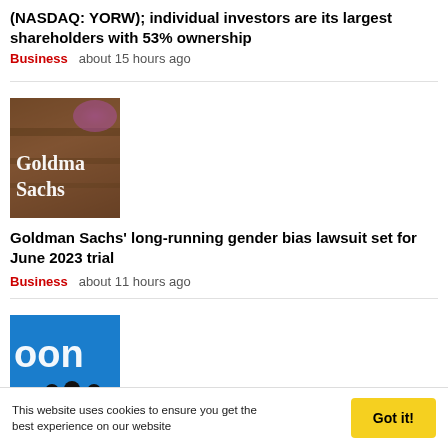(NASDAQ: YORW); individual investors are its largest shareholders with 53% ownership
Business   about 15 hours ago
[Figure (photo): Goldman Sachs logo on a wooden background with gold lettering]
Goldman Sachs' long-running gender bias lawsuit set for June 2023 trial
Business   about 11 hours ago
[Figure (photo): Zoom logo on blue background with silhouettes of people standing in foreground]
Zoom tempers annual profit, revenue outlook as demand falters
This website uses cookies to ensure you get the best experience on our website   Got it!